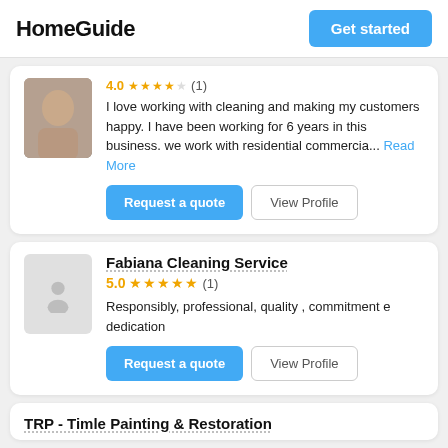HomeGuide | Get started
I love working with cleaning and making my customers happy. I have been working for 6 years in this business. we work with residential commercia... Read More
Request a quote | View Profile
Fabiana Cleaning Service
5.0 ★★★★★ (1)
Responsibly, professional, quality , commitment e dedication
Request a quote | View Profile
TRP - Timle Painting & Restoration